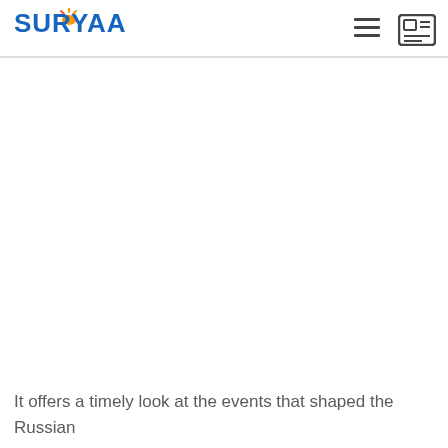SURYAA
[Figure (photo): Large image area (blank/white) below the header — article image placeholder]
It offers a timely look at the events that shaped the Russian